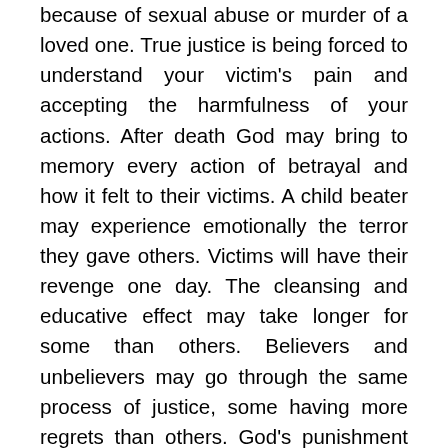because of sexual abuse or murder of a loved one. True justice is being forced to understand your victim's pain and accepting the harmfulness of your actions. After death God may bring to memory every action of betrayal and how it felt to their victims. A child beater may experience emotionally the terror they gave others. Victims will have their revenge one day. The cleansing and educative effect may take longer for some than others. Believers and unbelievers may go through the same process of justice, some having more regrets than others. God's punishment has always been in hopes of redeeming the guilty. We like God may forgive our tormenters if our enemies truly regret their actions and seek forgiveness.
Justice from a fair, merciful God is entirely possible despite people being given a second chance after death.